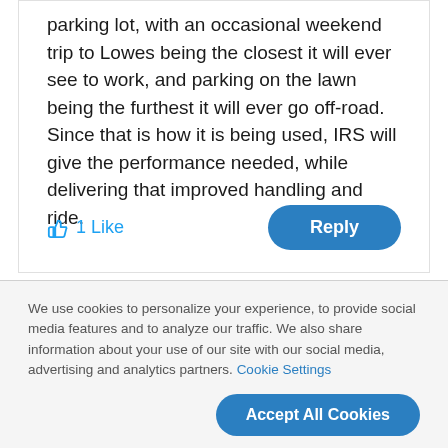parking lot, with an occasional weekend trip to Lowes being the closest it will ever see to work, and parking on the lawn being the furthest it will ever go off-road. Since that is how it is being used, IRS will give the performance needed, while delivering that improved handling and ride.
1 Like
Reply
We use cookies to personalize your experience, to provide social media features and to analyze our traffic. We also share information about your use of our site with our social media, advertising and analytics partners. Cookie Settings
Accept All Cookies